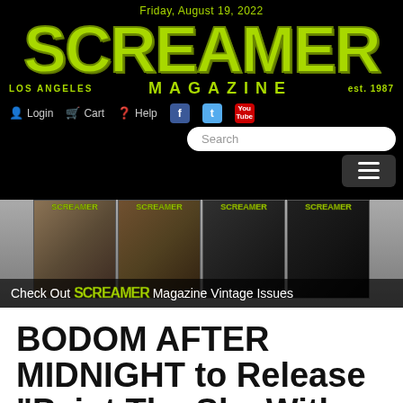Friday, August 19, 2022
SCREAMER — Los Angeles Magazine est. 1987
Login  Cart  Help
[Figure (screenshot): Screamer Magazine vintage issue covers banner with caption: Check Out Screamer Magazine Vintage Issues]
Check Out Screamer Magazine Vintage Issues
BODOM AFTER MIDNIGHT to Release "Paint The Sky With